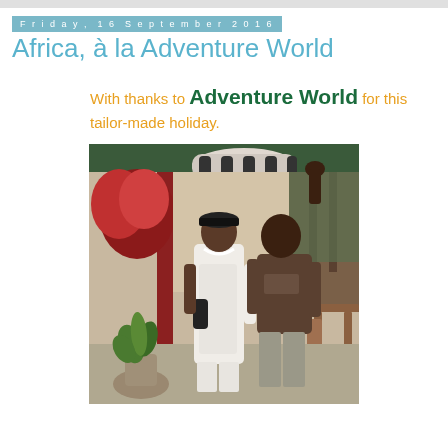Friday, 16 September 2016
Africa, à la Adventure World
With thanks to Adventure World for this tailor-made holiday.
[Figure (photo): Two staff members standing under a covered outdoor area/veranda of an African lodge. One person in white uniform and black cap, another in a brown t-shirt and grey trousers. A potted plant is visible in the foreground, red flowers and green roofing in the background.]